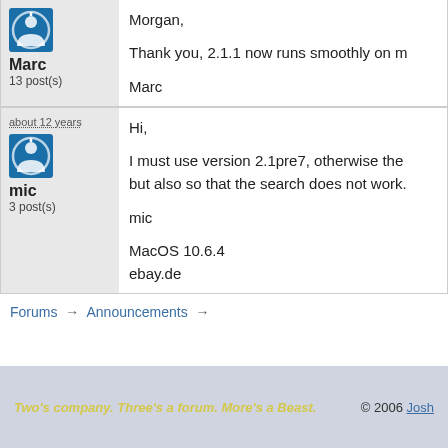Marc
13 post(s)
Morgan,
Thank you, 2.1.1 now runs smoothly on m
Marc
about 12 years
mic
3 post(s)
Hi,
I must use version 2.1pre7, otherwise the but also so that the search does not work.
mic
MacOS 10.6.4
ebay.de
Forums → Announcements →
Two's company. Three's a forum. More's a Beast. © 2006 Josh